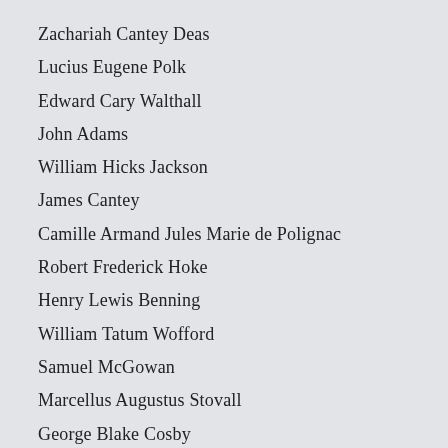Zachariah Cantey Deas
Lucius Eugene Polk
Edward Cary Walthall
John Adams
William Hicks Jackson
James Cantey
Camille Armand Jules Marie de Polignac
Robert Frederick Hoke
Henry Lewis Benning
William Tatum Wofford
Samuel McGowan
Marcellus Augustus Stovall
George Blake Cosby
Francis Crawford Armstrong